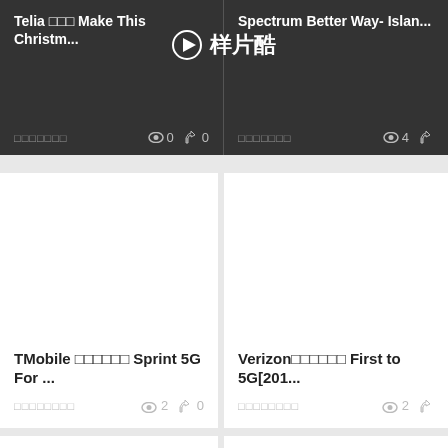[Figure (screenshot): Website video gallery screenshot showing video cards from 样片酷 (Yangpiankoo). Top row shows two video cards on dark background: 'Telia □□□ Make This Christm...' and 'Spectrum Better Way- Islan...' with view/like counts. Middle row shows two white cards: 'TMobile □□□□□□ Sprint 5G For ...' with 2 views 0 likes, and 'Verizon□□□□□□ First to 5G[201...' with 2 views. Bottom row shows two more white cards partially visible. A watermark logo '▶ 样片酷' appears in the center top area.]